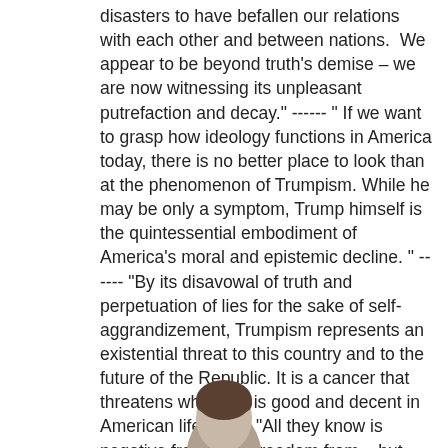disasters to have befallen our relations with each other and between nations.  We appear to be beyond truth's demise – we are now witnessing its unpleasant putrefaction and decay." ------ " If we want to grasp how ideology functions in America today, there is no better place to look than at the phenomenon of Trumpism. While he may be only a symptom, Trump himself is the quintessential embodiment of America's moral and epistemic decline. " ------ "By its disavowal of truth and perpetuation of lies for the sake of self-aggrandizement, Trumpism represents an existential threat to this country and to the future of the Republic. It is a cancer that threatens whatever is good and decent in American life. " ----- "All they know is negative freedom – freedom from – but ignore the need for positive freedom, the freedom to… as in the freedom to flourish, to realize oneself in the world; to make and re-make oneself and the world through action."
[Figure (photo): Partial view of a person's head/face visible at the bottom of the page]